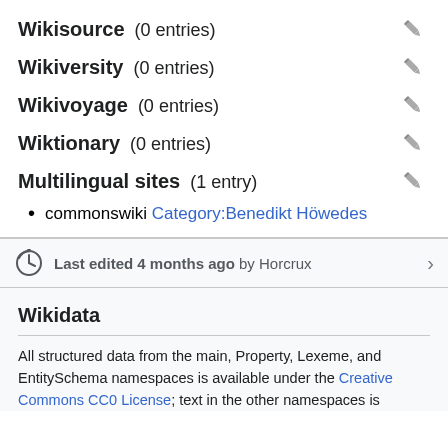Wikisource (0 entries)
Wikiversity (0 entries)
Wikivoyage (0 entries)
Wiktionary (0 entries)
Multilingual sites (1 entry)
commonswiki Category:Benedikt Höwedes
Last edited 4 months ago by Horcrux
Wikidata
All structured data from the main, Property, Lexeme, and EntitySchema namespaces is available under the Creative Commons CC0 License; text in the other namespaces is